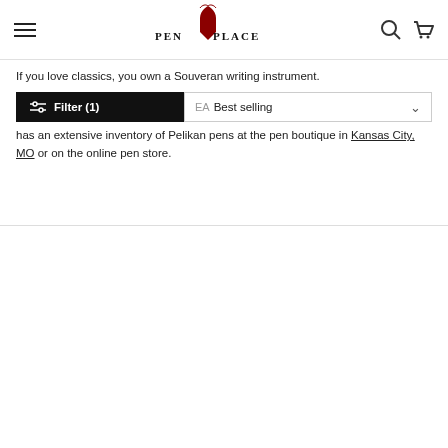PEN PLACE (logo/nav header)
If you love classics, you own a Souveran writing instrument.
Filter (1)   EA   Best selling
has an extensive inventory of Pelikan pens at the pen boutique in Kansas City, MO or on the online pen store.